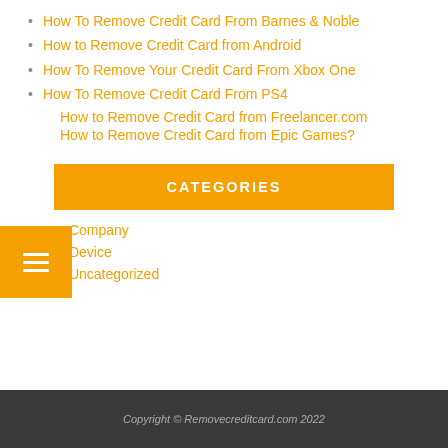How To Remove Credit Card From Barnes & Noble
How to Remove Credit Card from Android
How To Remove Your Credit Card From Xbox One
How To Remove Credit Card From PS4
How to Remove Credit Card from Freelancer.com
How to Remove Credit Card from Epic Games?
CATEGORIES
Company
Device
Uncategorized
Copyright © Removecreditcard.com 2022